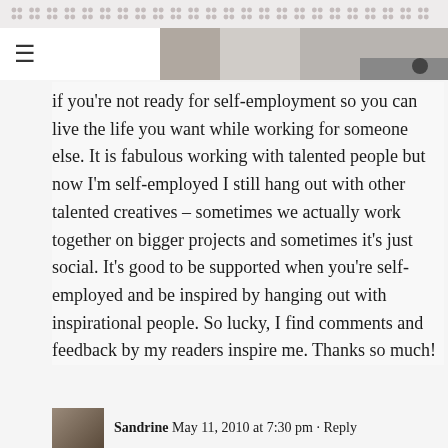· · · · · · · · · · · · · · · · · · · · (decorative dot pattern)
if you're not ready for self-employment so you can live the life you want while working for someone else. It is fabulous working with talented people but now I'm self-employed I still hang out with other talented creatives – sometimes we actually work together on bigger projects and sometimes it's just social. It's good to be supported when you're self-employed and be inspired by hanging out with inspirational people. So lucky, I find comments and feedback by my readers inspire me. Thanks so much!
Sandrine  May 11, 2010 at 7:30 pm · Reply